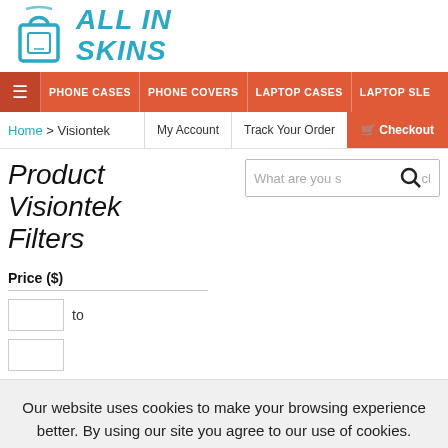[Figure (logo): All In Skins logo with shopping bag icon and teal italic text]
PHONE CASES | PHONE COVERS | LAPTOP CASES | LAPTOP SLEEVES
Home > Visiontek
My Account   Track Your Order   Checkout
Product Filters   Visiontek
Price ($)
to
Our website uses cookies to make your browsing experience better. By using our site you agree to our use of cookies. Learn More
I Agree